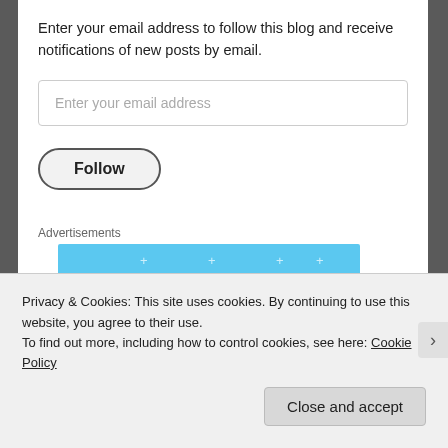Enter your email address to follow this blog and receive notifications of new posts by email.
Enter your email address
Follow
Advertisements
[Figure (other): Light blue advertisement placeholder block with sparkle/plus symbols]
Privacy & Cookies: This site uses cookies. By continuing to use this website, you agree to their use.
To find out more, including how to control cookies, see here: Cookie Policy
Close and accept